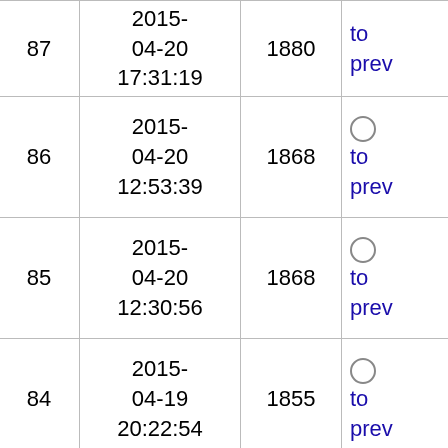| # | Date | Score | Links |
| --- | --- | --- | --- |
| 87 | 2015-04-20 17:31:19 | 1880 | to prev |
| 86 | 2015-04-20 12:53:39 | 1868 | to prev |
| 85 | 2015-04-20 12:30:56 | 1868 | to prev |
| 84 | 2015-04-19 20:22:54 | 1855 | to prev |
| 83 | 2015-04-18 02:53:21 | 1837 | to prev |
| 82 | 2015-04-05 14:44:04 | 1815 | to prev |
| 81 | 2015-03-30 | 1798 | to |